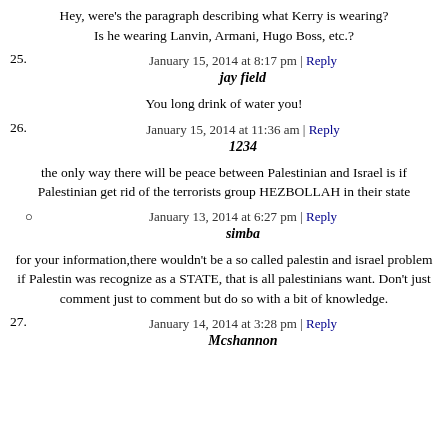Hey, were's the paragraph describing what Kerry is wearing? Is he wearing Lanvin, Armani, Hugo Boss, etc.?
January 15, 2014 at 8:17 pm | Reply
25. jay field
You long drink of water you!
January 15, 2014 at 11:36 am | Reply
26. 1234
the only way there will be peace between Palestinian and Israel is if Palestinian get rid of the terrorists group HEZBOLLAH in their state
January 13, 2014 at 6:27 pm | Reply
simba
for your information,there wouldn't be a so called palestin and israel problem if Palestin was recognize as a STATE, that is all palestinians want. Don't just comment just to comment but do so with a bit of knowledge.
January 14, 2014 at 3:28 pm | Reply
27. Mcshannon